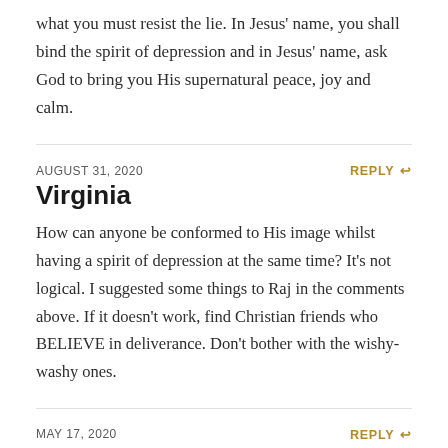what you must resist the lie. In Jesus' name, you shall bind the spirit of depression and in Jesus' name, ask God to bring you His supernatural peace, joy and calm.
AUGUST 31, 2020
REPLY
Virginia
How can anyone be conformed to His image whilst having a spirit of depression at the same time? It's not logical. I suggested some things to Raj in the comments above. If it doesn't work, find Christian friends who BELIEVE in deliverance. Don't bother with the wishy-washy ones.
MAY 17, 2020
REPLY